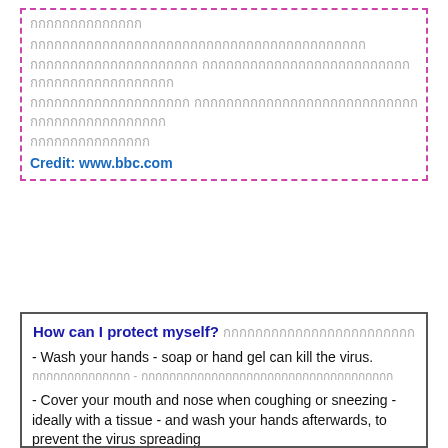[Thai text block] Credit: www.bbc.com
How can I protect myself? [Thai text]
- Wash your hands - soap or hand gel can kill the virus. [Thai translation]
- Cover your mouth and nose when coughing or sneezing - ideally with a tissue - and wash your hands afterwards, to prevent the virus spreading [Thai translation]
- Avoid touching your eyes, nose and mouth - if your hands touch a surface contaminated by the virus, this could transfer it into your body.